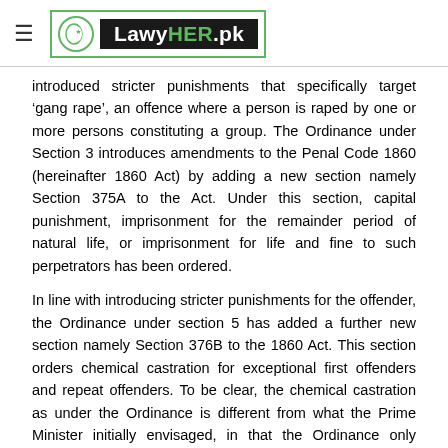LawyHER.pk
introduced stricter punishments that specifically target 'gang rape', an offence where a person is raped by one or more persons constituting a group. The Ordinance under Section 3 introduces amendments to the Penal Code 1860 (hereinafter 1860 Act) by adding a new section namely Section 375A to the Act. Under this section, capital punishment, imprisonment for the remainder period of natural life, or imprisonment for life and fine to such perpetrators has been ordered.
In line with introducing stricter punishments for the offender, the Ordinance under section 5 has added a further new section namely Section 376B to the 1860 Act. This section orders chemical castration for exceptional first offenders and repeat offenders. To be clear, the chemical castration as under the Ordinance is different from what the Prime Minister initially envisaged, in that the Ordinance only supports chemical and not surgical castration with consent for rehabilitative purposes. A drug is used to reduce sexual drives, compulsive sexual fantasies, and capacity for sexual arousal in the offender. This is further